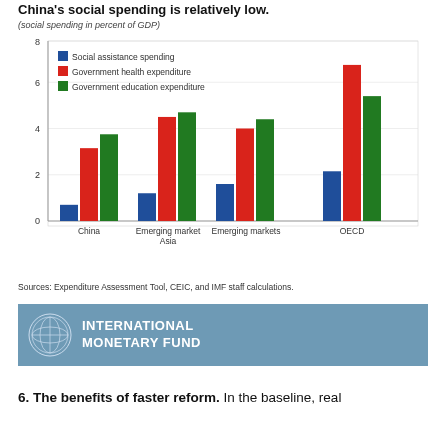China's social spending is relatively low.
(social spending in percent of GDP)
[Figure (grouped-bar-chart): China's social spending is relatively low.]
Sources: Expenditure Assessment Tool, CEIC, and IMF staff calculations.
[Figure (logo): International Monetary Fund logo and banner]
6. The benefits of faster reform. In the baseline, real